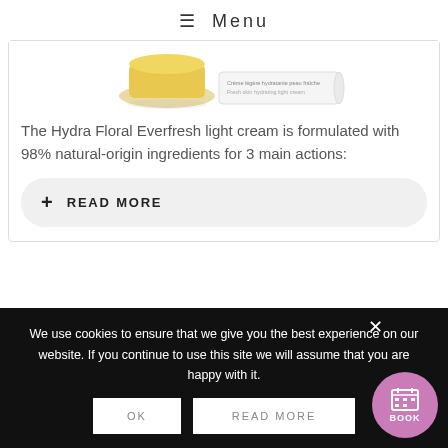≡  Menu
[Figure (photo): Product image of Hydra Floral Everfresh light cream — a gold/yellow jar and a white tube packaging]
The Hydra Floral Everfresh light cream is formulated with 98% natural-origin ingredients for 3 main actions:
+ READ MORE
We use cookies to ensure that we give you the best experience on our website. If you continue to use this site we will assume that you are happy with it.
OK
READ MORE
BOOK